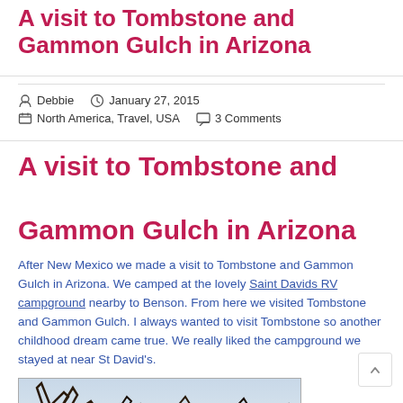A visit to Tombstone and Gammon Gulch in Arizona
Debbie   January 27, 2015   North America, Travel, USA   3 Comments
A visit to Tombstone and Gammon Gulch in Arizona
After New Mexico we made a visit to Tombstone and Gammon Gulch in Arizona. We camped at the lovely Saint Davids RV campground nearby to Benson. From here we visited Tombstone and Gammon Gulch. I always wanted to visit Tombstone so another childhood dream came true. We really liked the campground we stayed at near St David's.
[Figure (photo): Outdoor photo showing tree branches against a sky background]